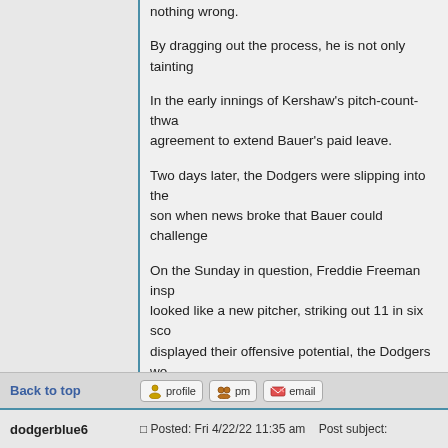nothing wrong.
By dragging out the process, he is not only tainting...
In the early innings of Kershaw's pitch-count-thwa... agreement to extend Bauer's paid leave.
Two days later, the Dodgers were slipping into the... son when news broke that Bauer could challenge...
On the Sunday in question, Freddie Freeman insp... looked like a new pitcher, striking out 11 in six sco... displayed their offensive potential, the Dodgers wo...
And somehow, the story of the day involved a play...
DB6 comment: 🙂
"The Dodgers have always occupied an enormous... most successful team in baseball history, the Dodd...
-Baseball Hall of Fame
Back to top
dodgerblue6
Posted: Fri 4/22/22 11:35 am   Post subject: